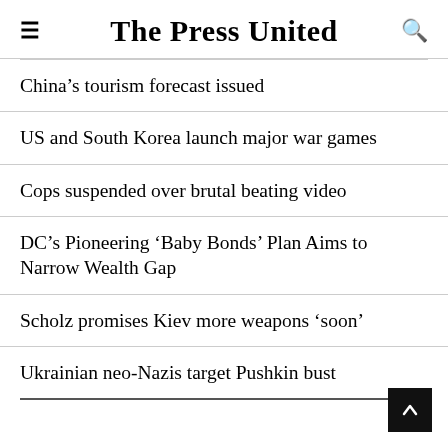The Press United
China’s tourism forecast issued
US and South Korea launch major war games
Cops suspended over brutal beating video
DC’s Pioneering ‘Baby Bonds’ Plan Aims to Narrow Wealth Gap
Scholz promises Kiev more weapons ‘soon’
Ukrainian neo-Nazis target Pushkin bust